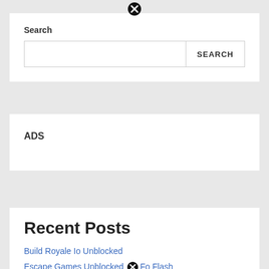[Figure (other): Close/dismiss icon (black circle with X) at top center]
Search
[Figure (other): Search input box with SEARCH button]
ADS
Recent Posts
Build Royale Io Unblocked
Escape Games Unblocked Fo Flash
[Figure (other): Close/dismiss icon (black circle with X) near bottom link]